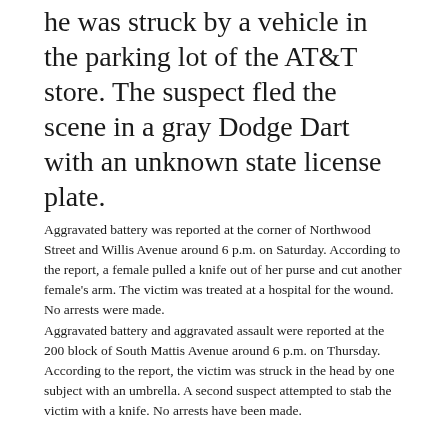he was struck by a vehicle in the parking lot of the AT&T store. The suspect fled the scene in a gray Dodge Dart with an unknown state license plate.
Aggravated battery was reported at the corner of Northwood Street and Willis Avenue around 6 p.m. on Saturday. According to the report, a female pulled a knife out of her purse and cut another female's arm. The victim was treated at a hospital for the wound. No arrests were made.
Aggravated battery and aggravated assault were reported at the 200 block of South Mattis Avenue around 6 p.m. on Thursday. According to the report, the victim was struck in the head by one subject with an umbrella. A second suspect attempted to stab the victim with a knife. No arrests have been made.
Driving under the influence of drugs, operation of an uninsured motor vehicle and illegal transportation of liquor were reported at the corner of Redwood and South Northwood Drives